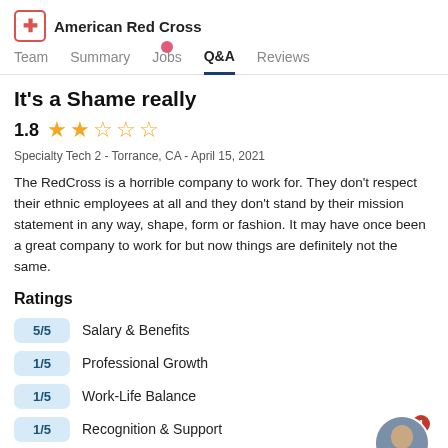American Red Cross
Team  Summary  Jobs  Q&A  Reviews
It's a Shame really
1.8 ★★☆☆☆
Specialty Tech 2 - Torrance, CA - April 15, 2021
The RedCross is a horrible company to work for. They don't respect their ethnic employees at all and they don't stand by their mission statement in any way, shape, form or fashion. It may have once been a great company to work for but now things are definitely not the same.
Ratings
5/5  Salary & Benefits
1/5  Professional Growth
1/5  Work-Life Balance
1/5  Recognition & Support
1/5  Culture & Values